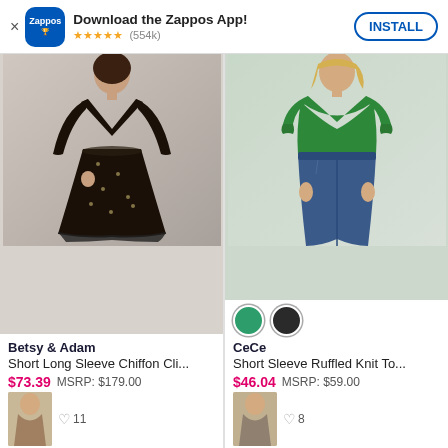Download the Zappos App! ★★★★★ (554k) INSTALL
[Figure (photo): Black long-sleeve chiffon dress worn by a woman, product photo on light gray background]
[Figure (photo): Green short sleeve ruffled knit top worn with jeans, product photo on light gray background]
Betsy & Adam
Short Long Sleeve Chiffon Cli...
$73.39  MSRP: $179.00
[Figure (other): Color swatches: green and black]
CeCe
Short Sleeve Ruffled Knit To...
$46.04  MSRP: $59.00
[Figure (photo): Bottom partial product thumbnail, left side]
♡ 11
[Figure (photo): Bottom partial product thumbnail, right side]
♡ 8